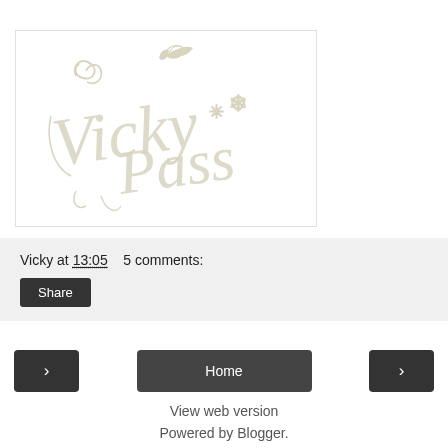[Figure (logo): Vicky Pass decorative script logo with floral/snowflake elements in cream/off-white on white background]
Vicky at 13:05    5 comments:
Share
< Home >
View web version
Powered by Blogger.